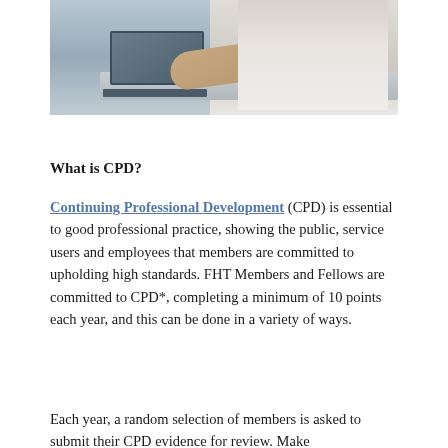[Figure (photo): A person in white clothing working on a laptop at a desk, viewed from the side]
What is CPD?
Continuing Professional Development (CPD) is essential to good professional practice, showing the public, service users and employees that members are committed to upholding high standards. FHT Members and Fellows are committed to CPD*, completing a minimum of 10 points each year, and this can be done in a variety of ways.
Each year, a random selection of members is asked to submit their CPD evidence for review. Make